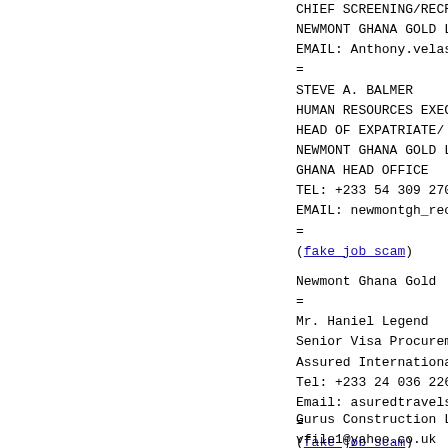CHIEF SCREENING/RECRUITING
NEWMONT GHANA GOLD LTD.
EMAIL: Anthony.velasco9@gma
=
STEVE A. BALMER
HUMAN RESOURCES EXECUTIVE
HEAD OF EXPATRIATE/ EMPLOY
NEWMONT GHANA GOLD LTD.
GHANA HEAD OFFICE
TEL: +233 54 309 2700
EMAIL: newmontgh_recruit@ne
=
(fake job scam)
Newmont Ghana Gold
=
Mr. Haniel Legend
Senior Visa Procurement Off
Assured International Trav
Tel: +233 24 036 2269
Email: asuredtravels@live.c
=
(fake job scam)
Gurus Construction Limited
vfile1@yahoo.co.uk